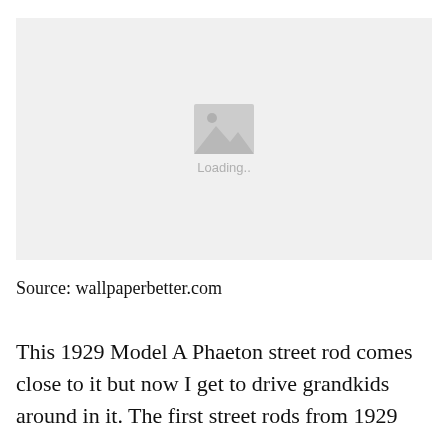[Figure (photo): Image placeholder with gray background, mountain/landscape icon, and 'Loading..' text below the icon]
Source: wallpaperbetter.com
This 1929 Model A Phaeton street rod comes close to it but now I get to drive grandkids around in it. The first street rods from 1929...